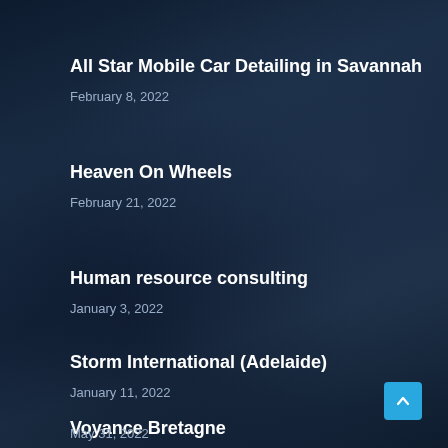All Star Mobile Car Detailing in Savannah
February 8, 2022
Heaven On Wheels
February 21, 2022
Human resource consulting
January 3, 2022
Storm International (Adelaide)
January 11, 2022
Voyance Bretagne
May 31, 2022